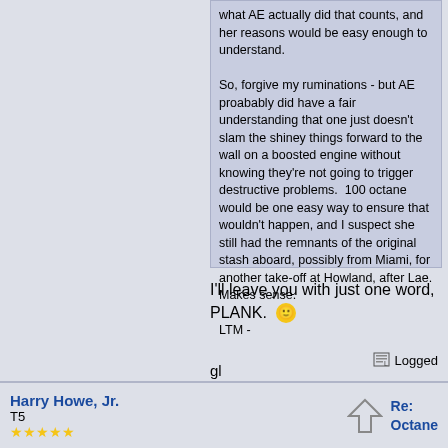what AE actually did that counts, and her reasons would be easy enough to understand.

So, forgive my ruminations - but AE proabably did have a fair understanding that one just doesn't slam the shiney things forward to the wall on a boosted engine without knowing they're not going to trigger destructive problems. 100 octane would be one easy way to ensure that wouldn't happen, and I suspect she still had the remnants of the original stash aboard, possibly from Miami, for another take-off at Howland, after Lae. Makes sense.

LTM -
I'll leave you with just one word, PLANK.  😊
gl
Logged
Harry Howe, Jr.
T5
Re:
Octane